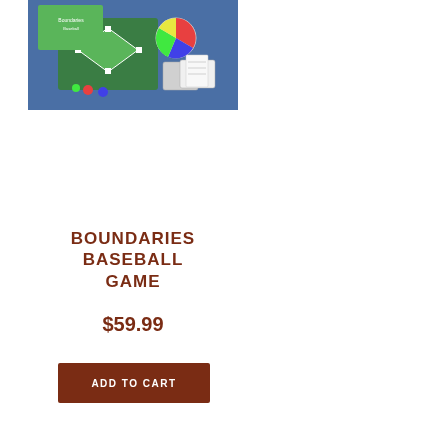[Figure (photo): Photo of the Boundaries Baseball Game board game showing the game board with a green baseball diamond, spinner, cards, and game pieces on a blue background]
BOUNDARIES BASEBALL GAME
$59.99
ADD TO CART